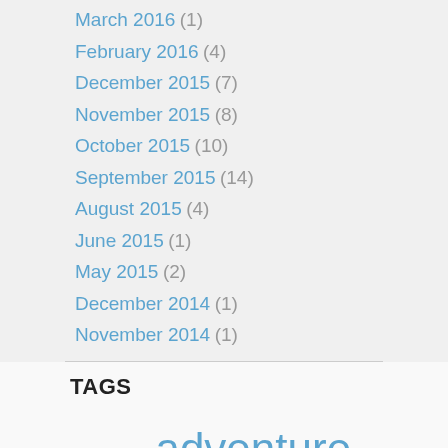March 2016 (1)
February 2016 (4)
December 2015 (7)
November 2015 (8)
October 2015 (10)
September 2015 (14)
August 2015 (4)
June 2015 (1)
May 2015 (2)
December 2014 (1)
November 2014 (1)
TAGS
5k 10k 2018 adventure Appalachian Trail Arizona assateague assateague island Backpacking beach bike bike commute bikepacking bike ride bike tour Bike Touring bike trail biking b... c&o canal